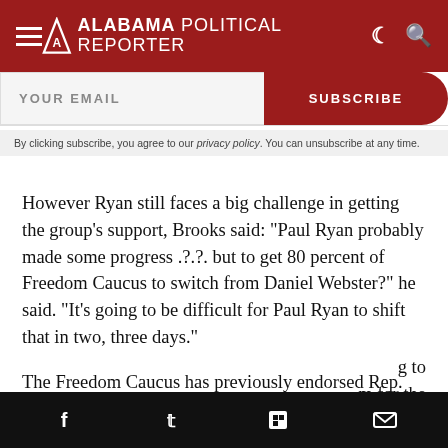Alabama Political Reporter
YOUR EMAIL
SUBSCRIBE
By clicking subscribe, you agree to our privacy policy. You can unsubscribe at any time.
However Ryan still faces a big challenge in getting the group’s support, Brooks said: “Paul Ryan probably made some progress .?.?. but to get 80 percent of Freedom Caucus to switch from Daniel Webster?” he said. “It’s going to be difficult for Paul Ryan to shift that in two, three days.”
The Freedom Caucus has previously endorsed Rep. Daniel Webster (R-Florida) who is a former Speaker of
Social share bar with icons: Facebook, Twitter, Flipboard, Email